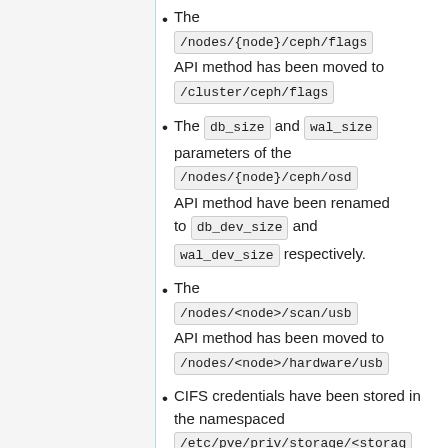The /nodes/{node}/ceph/flags API method has been moved to /cluster/ceph/flags
The db_size and wal_size parameters of the /nodes/{node}/ceph/osd API method have been renamed to db_dev_size and wal_dev_size respectively.
The /nodes/<node>/scan/usb API method has been moved to /nodes/<node>/hardware/usb
CIFS credentials have been stored in the namespaced /etc/pve/priv/storage/<storage> instead of /etc/pve/<storage>.cred